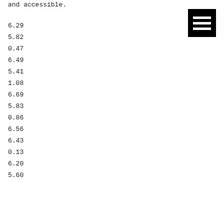and accessible.
[Figure (other): Hamburger menu icon — black square with three white horizontal bars]
6.29
5.82
0.47
6.49
5.41
1.08
6.69
5.83
0.86
6.56
6.43
0.13
6.20
5.60